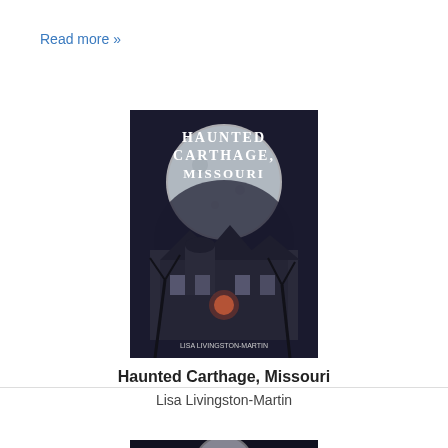Read more »
[Figure (illustration): Book cover: Haunted Carthage, Missouri by Lisa Livingston-Martin. Dark cover with large moon, bare trees, and a gothic mansion.]
Haunted Carthage, Missouri
Lisa Livingston-Martin
[Figure (illustration): Book cover: Haunted Joplin. Dark cover showing a brick building with glowing red light and misty atmosphere.]